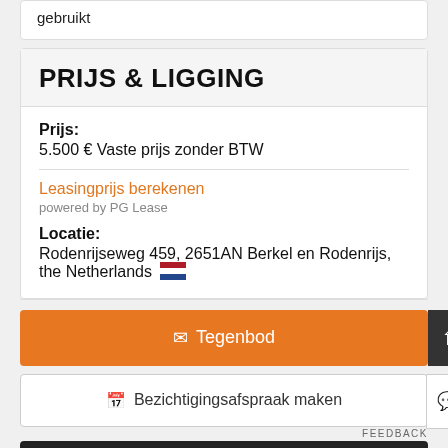gebruikt
PRIJS & LIGGING
Prijs:
5.500 € Vaste prijs zonder BTW
Leasingprijs berekenen
powered by PG Lease
Locatie:
Rodenrijseweg 459, 2651AN Berkel en Rodenrijs, the Netherlands
Tegenbod
Bezichtigingsafspraak maken
Bel